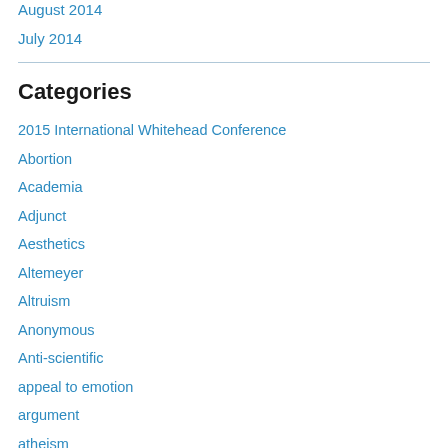August 2014
July 2014
Categories
2015 International Whitehead Conference
Abortion
Academia
Adjunct
Aesthetics
Altemeyer
Altruism
Anonymous
Anti-scientific
appeal to emotion
argument
atheism
Authoritarians
Ayn Rand
Book Review